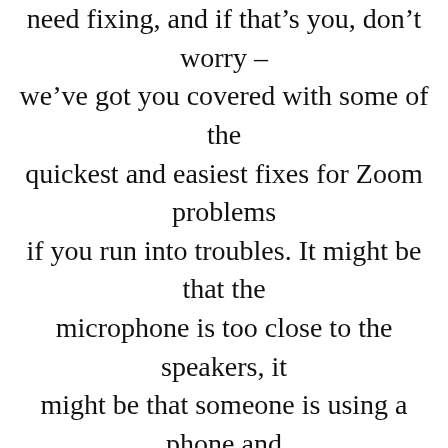need fixing, and if that's you, don't worry – we've got you covered with some of the quickest and easiest fixes for Zoom problems if you run into troubles. It might be that the microphone is too close to the speakers, it might be that someone is using a phone and computer or that multiple computers are too close together. If using an external microphone: Many external mics have they own mute feature – make sure the mic itself isn't muted. Support Remote Support. Why you can trust Pocket-lint.